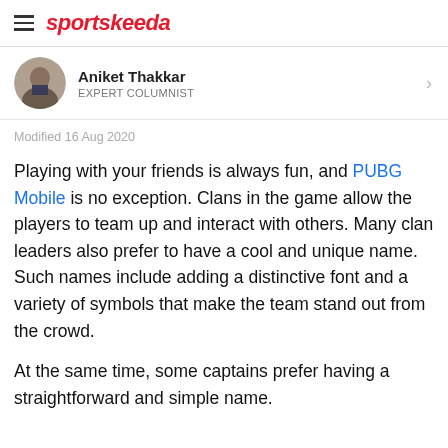sportskeeda
[Figure (photo): Author profile photo of Aniket Thakkar]
Aniket Thakkar
EXPERT COLUMNIST
Modified 16 Aug 2020
Playing with your friends is always fun, and PUBG Mobile is no exception. Clans in the game allow the players to team up and interact with others. Many clan leaders also prefer to have a cool and unique name. Such names include adding a distinctive font and a variety of symbols that make the team stand out from the crowd.
At the same time, some captains prefer having a straightforward and simple name.